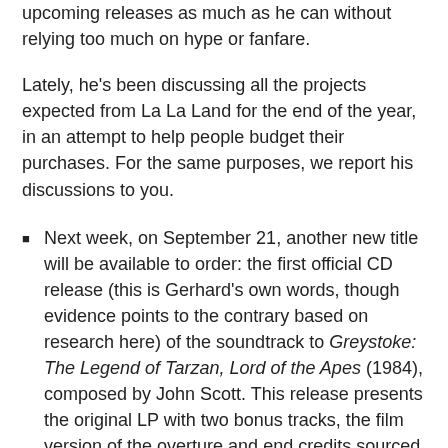upcoming releases as much as he can without relying too much on hype or fanfare.
Lately, he's been discussing all the projects expected from La La Land for the end of the year, in an attempt to help people budget their purchases. For the same purposes, we report his discussions to you.
Next week, on September 21, another new title will be available to order: the first official CD release (this is Gerhard's own words, though evidence points to the contrary based on research here) of the soundtrack to Greystoke: The Legend of Tarzan, Lord of the Apes (1984), composed by John Scott. This release presents the original LP with two bonus tracks, the film version of the overture and end credits sourced from the magnetic track directly off the film (expanded score